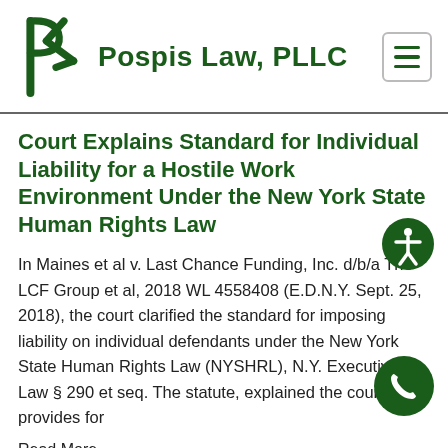Pospis Law, PLLC
Court Explains Standard for Individual Liability for a Hostile Work Environment Under the New York State Human Rights Law
In Maines et al v. Last Chance Funding, Inc. d/b/a The LCF Group et al, 2018 WL 4558408 (E.D.N.Y. Sept. 25, 2018), the court clarified the standard for imposing liability on individual defendants under the New York State Human Rights Law (NYSHRL), N.Y. Executive Law § 290 et seq. The statute, explained the court, provides for
Read More